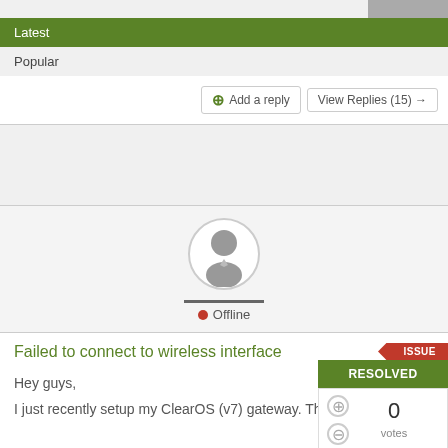Latest | Popular
+ Add a reply   View Replies (15) →
[Figure (illustration): Generic user avatar in a circle, grey silhouette of a person in a suit]
Offline
Failed to connect to wireless interface
ISSUE  RESOLVED  0 votes
Hey guys,
I just recently setup my ClearOS (v7) gateway. The